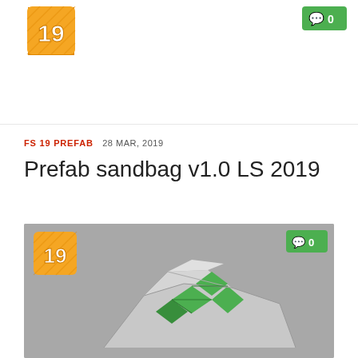[Figure (logo): FS19 orange badge logo top]
[Figure (infographic): Green comment badge showing 0 comments, top right]
FS 19 PREFAB  28 MAR, 2019
Prefab sandbag v1.0 LS 2019
[Figure (photo): Card with FS19 badge and 3D render of a low-poly sandbag with green and grey diamond pattern on grey background]